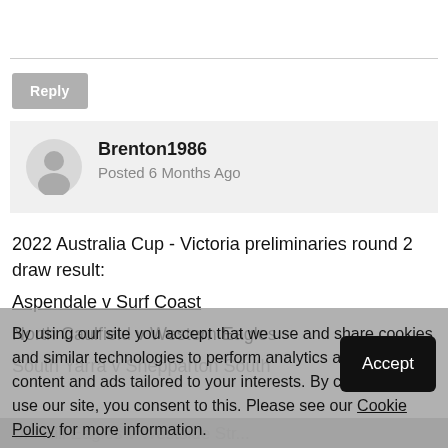[Figure (other): Gray horizontal divider line]
Reply
Brenton1986
Posted 6 Months Ago
2022 Australia Cup - Victoria preliminaries round 2 draw result:
Aspendale v Surf Coast
North Caulfield v Western Eagles
South Yarra v Shepparton South
By using our site you accept that we use and share cookies and similar technologies to perform analytics and provide content and ads tailored to your interests. By continuing to use our site, you consent to this. Please see our Cookie Policy for more information.
Accept
Uni Hill Eagles v Westside Str...